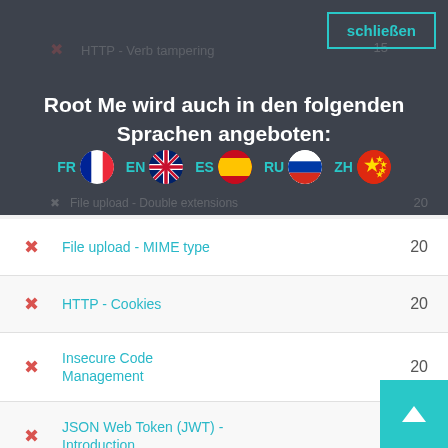HTTP - Verb tampering
schließen
Root Me wird auch in den folgenden Sprachen angeboten:
[Figure (infographic): Language flags row: FR (French flag), EN (UK flag), ES (Spanish flag), RU (Russian flag), ZH (Chinese flag)]
File upload - Double extensions
File upload - MIME type  20
HTTP - Cookies  20
Insecure Code Management  20
JSON Web Token (JWT) - Introduction  20
Directory traversal  25
File upload - Null byte  25
JSON Web Token (JWT) -  25